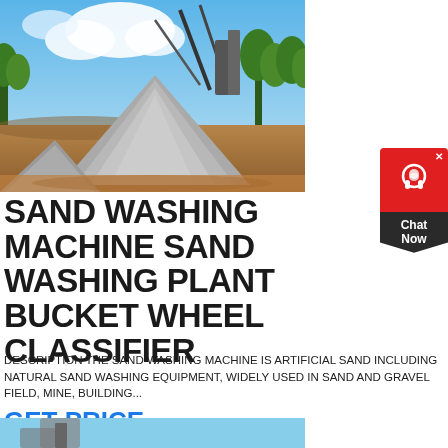[Figure (photo): Outdoor quarry/mining site with large pile of crushed gravel/stone aggregate in the foreground, industrial conveyor equipment and machinery in the background, trees and mountains visible under a partly cloudy blue sky.]
SAND WASHING MACHINE SAND WASHING PLANT BUCKET WHEEL CLASSIFIER
DESCRIPTION THE SAND WASHING MACHINE IS ARTIFICIAL SAND INCLUDING NATURAL SAND WASHING EQUIPMENT, WIDELY USED IN SAND AND GRAVEL FIELD, MINE, BUILDING...
GET PRICE
[Figure (photo): Partial view of industrial sand washing equipment, blue sky background.]